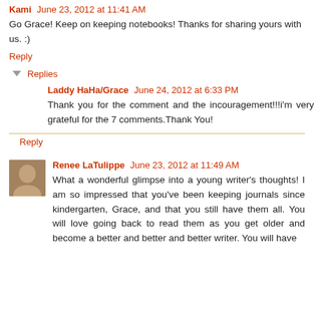Kami June 23, 2012 at 11:41 AM
Go Grace! Keep on keeping notebooks! Thanks for sharing yours with us. :)
Reply
▾ Replies
Laddy HaHa/Grace June 24, 2012 at 6:33 PM
Thank you for the comment and the incouragement!!!i'm very grateful for the 7 comments.Thank You!
Reply
Renee LaTulippe June 23, 2012 at 11:49 AM
What a wonderful glimpse into a young writer's thoughts! I am so impressed that you've been keeping journals since kindergarten, Grace, and that you still have them all. You will love going back to read them as you get older and become a better and better and better writer. You will have